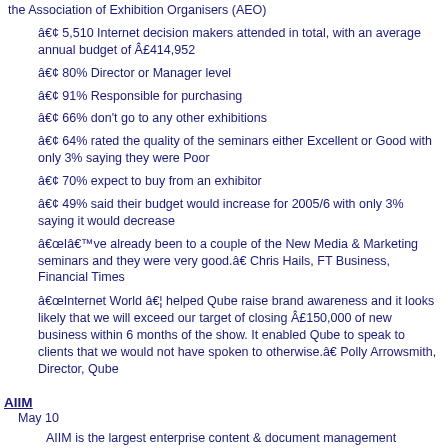the Association of Exhibition Organisers (AEO)
• 5,510 Internet decision makers attended in total, with an average annual budget of £414,952
• 80% Director or Manager level
• 91% Responsible for purchasing
• 66% don't go to any other exhibitions
• 64% rated the quality of the seminars either Excellent or Good with only 3% saying they were Poor
• 70% expect to buy from an exhibitor
• 49% said their budget would increase for 2005/6 with only 3% saying it would decrease
“I’ve already been to a couple of the New Media & Marketing seminars and they were very good.” Chris Hails, FT Business, Financial Times
“Internet World … helped Qube raise brand awareness and it looks likely that we will exceed our target of closing £150,000 of new business within 6 months of the show. It enabled Qube to speak to clients that we would not have spoken to otherwise.” Polly Arrowsmith, Director, Qube
AIIM
May 10
AIIM is the largest enterprise content & document management conference and exposition showcasing the technologies and solutions that provide intelligence behind information.